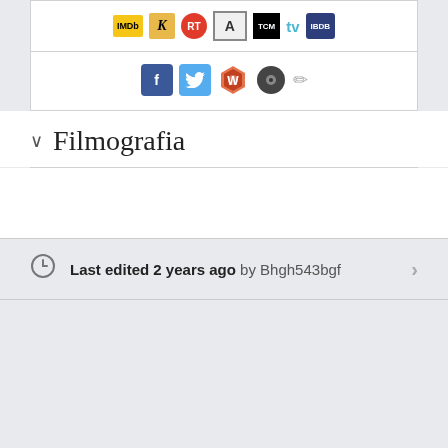[Figure (screenshot): Row of external link icons: IMDb, K (Kinopoisk), RT (Rotten Tomatoes), A (AllMovie), TCM, tv, IBDB]
[Figure (screenshot): Row of social/sharing icons: Facebook, Twitter, hexagon icon, disc icon, pencil icon]
Filmografia
Last edited 2 years ago by Bhgh543bgf